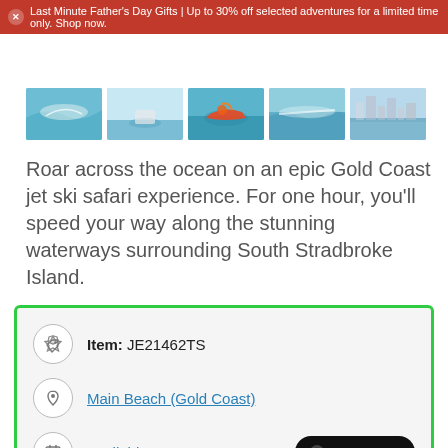Last Minute Father's Day Gifts | Up to 30% off selected adventures for a limited time only. Shop now.
[Figure (photo): Strip of five thumbnail photos showing jet ski and water activities on Gold Coast]
Roar across the ocean on an epic Gold Coast jet ski safari experience. For one hour, you'll speed your way along the stunning waterways surrounding South Stradbroke Island.
| Item: JE21462TS |
| Main Beach (Gold Coast) |
| Available Dates |